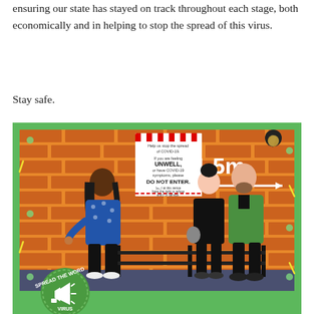ensuring our state has stayed on track throughout each stage, both economically and in helping to stop the spread of this virus.
Stay safe.
[Figure (illustration): COVID-19 social distancing illustration showing a venue staff member on the left side of a barrier and two customers on the right, with a 1.5m distance arrow between them. Background is an orange brick wall with a green border. A COVID-19 warning sign is on the wall. Bottom left has a green circular badge reading 'SPREAD THE WORD' with a megaphone icon and 'VIRUS' text.]